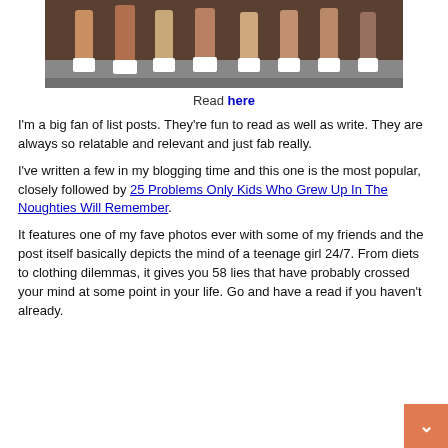[Figure (photo): Photo of teenagers/girls sitting, showing their legs and white socks, on a tiled surface outdoors]
Read here
I'm a big fan of list posts. They're fun to read as well as write. They are always so relatable and relevant and just fab really.
I've written a few in my blogging time and this one is the most popular, closely followed by 25 Problems Only Kids Who Grew Up In The Noughties Will Remember.
It features one of my fave photos ever with some of my friends and the post itself basically depicts the mind of a teenage girl 24/7. From diets to clothing dilemmas, it gives you 58 lies that have probably crossed your mind at some point in your life. Go and have a read if you haven't already.